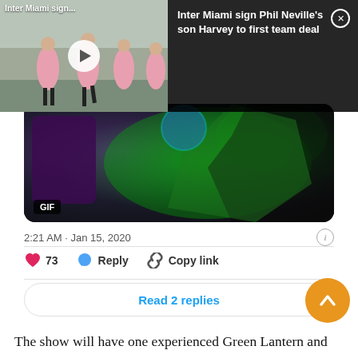[Figure (screenshot): Video thumbnail showing Inter Miami players in pink shirts running, with play button overlay and label 'Inter Miami sign...']
[Figure (screenshot): Dark notification panel with text: Inter Miami sign Phil Neville's son Harvey to first team deal, with close X button]
[Figure (screenshot): GIF thumbnail showing Green Lantern animated image with dark and green glowing colors, with GIF badge]
2:21 AM · Jan 15, 2020
73  Reply  Copy link
Read 2 replies
The show will have one experienced Green Lantern and another one will be rookie, most probably Jon Stewart and Hal Jordan. It will show several years of the Green Lantern